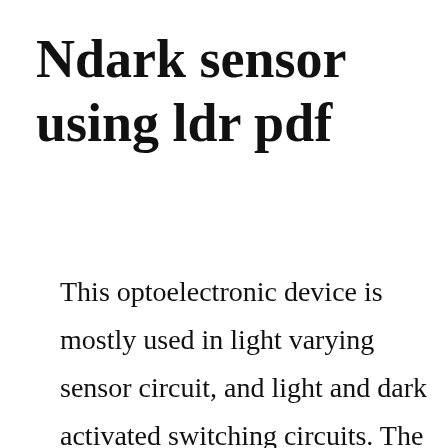Ndark sensor using ldr pdf
This optoelectronic device is mostly used in light varying sensor circuit, and light and dark activated switching circuits. The sensitivity of the signal detection can be adjusted using potentiometer. As said earlier a ldr is one of the different types of resistors, hence using it is very easy. Dark sensor, ldr darkness senor